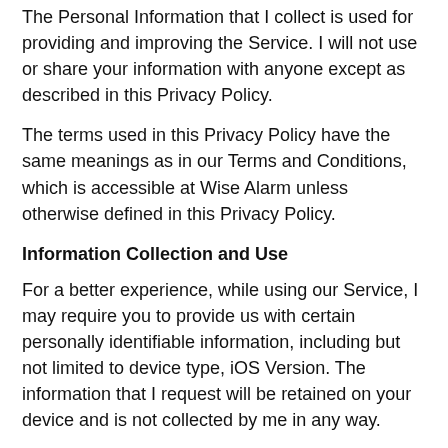The Personal Information that I collect is used for providing and improving the Service. I will not use or share your information with anyone except as described in this Privacy Policy.
The terms used in this Privacy Policy have the same meanings as in our Terms and Conditions, which is accessible at Wise Alarm unless otherwise defined in this Privacy Policy.
Information Collection and Use
For a better experience, while using our Service, I may require you to provide us with certain personally identifiable information, including but not limited to device type, iOS Version. The information that I request will be retained on your device and is not collected by me in any way.
Log Data